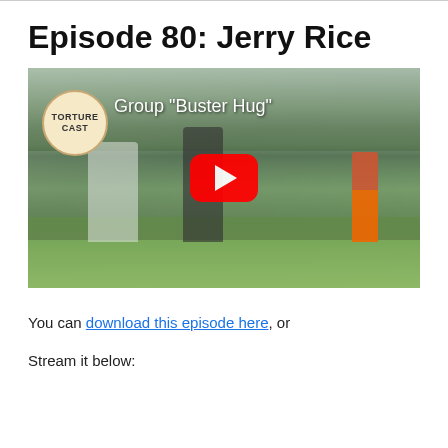Episode 80: Jerry Rice
[Figure (screenshot): YouTube video thumbnail showing a golf course scene with people. The Torture Cast podcast badge is visible in the top-left corner. The video title reads Group "Buster Hug". A red YouTube play button is centered on the image. A person in orange pants stands on the right side of the image.]
You can download this episode here, or
Stream it below: